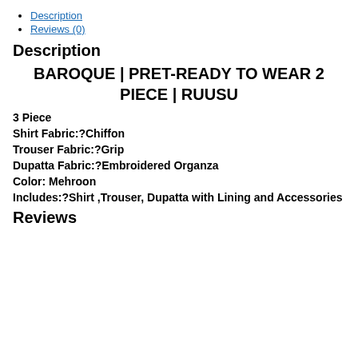Description
Reviews (0)
Description
BAROQUE | PRET-READY TO WEAR 2 PIECE | RUUSU
3 Piece
Shirt Fabric:?Chiffon
Trouser Fabric:?Grip
Dupatta Fabric:?Embroidered Organza
Color: Mehroon
Includes:?Shirt ,Trouser, Dupatta with Lining and Accessories
Reviews